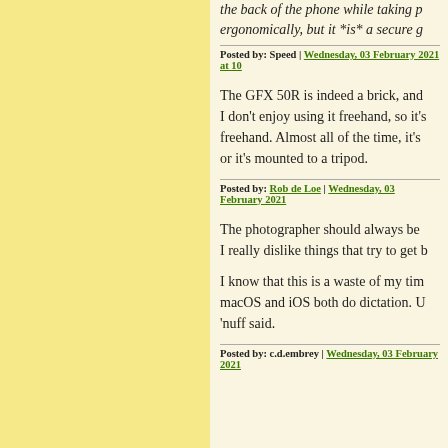the back of the phone while taking p... ergonomically, but it *is* a secure g...
Posted by: Speed | Wednesday, 03 February 2021 at 10...
The GFX 50R is indeed a brick, and... I don't enjoy using it freehand, so it's... freehand. Almost all of the time, it's... or it's mounted to a tripod.
Posted by: Rob de Loe | Wednesday, 03 February 2021...
The photographer should always be... I really dislike things that try to get b...
I know that this is a waste of my tim... macOS and iOS both do dictation. U... 'nuff said.
Posted by: c.d.embrey | Wednesday, 03 February 2021...